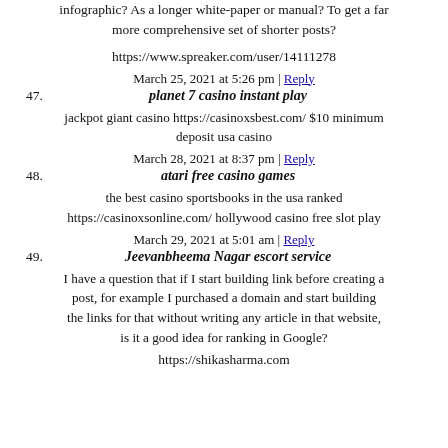infographic? As a longer white-paper or manual? To get a far more comprehensive set of shorter posts?
https://www.spreaker.com/user/14111278
March 25, 2021 at 5:26 pm | Reply
47. planet 7 casino instant play
jackpot giant casino https://casinoxsbest.com/ $10 minimum deposit usa casino
March 28, 2021 at 8:37 pm | Reply
48. atari free casino games
the best casino sportsbooks in the usa ranked https://casinoxsonline.com/ hollywood casino free slot play
March 29, 2021 at 5:01 am | Reply
49. Jeevanbheema Nagar escort service
I have a question that if I start building link before creating a post, for example I purchased a domain and start building the links for that without writing any article in that website, is it a good idea for ranking in Google?
https://shikasharma.com